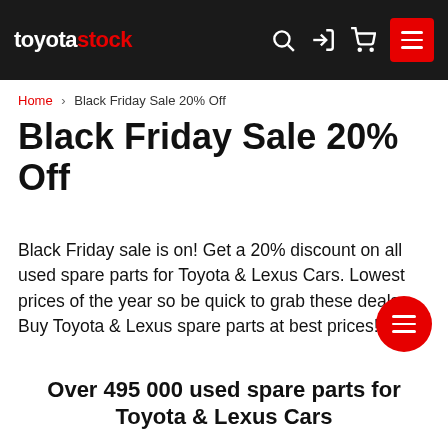toyotastock
Home > Black Friday Sale 20% Off
Black Friday Sale 20% Off
Black Friday sale is on! Get a 20% discount on all used spare parts for Toyota & Lexus Cars. Lowest prices of the year so be quick to grab these deals. Buy Toyota & Lexus spare parts at best prices!
Over 495 000 used spare parts for Toyota & Lexus Cars